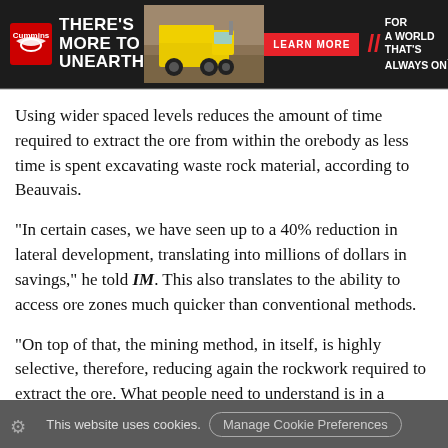[Figure (illustration): Cummins advertisement banner: 'There's More to Unearth' with a yellow mining dump truck, 'Learn More' button, and 'For a World That's Always On' tagline]
Using wider spaced levels reduces the amount of time required to extract the ore from within the orebody as less time is spent excavating waste rock material, according to Beauvais.
“In certain cases, we have seen up to a 40% reduction in lateral development, translating into millions of dollars in savings,” he told IM. This also translates to the ability to access ore zones much quicker than conventional methods.
“On top of that, the mining method, in itself, is highly selective, therefore, reducing again the rockwork required to extract the ore. What people need to understand is in a
This website uses cookies.  Manage Cookie Preferences